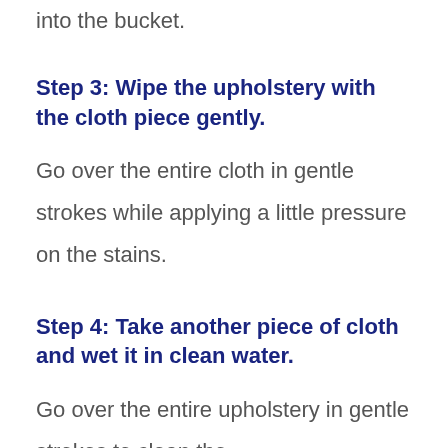into the bucket.
Step 3: Wipe the upholstery with the cloth piece gently.
Go over the entire cloth in gentle strokes while applying a little pressure on the stains.
Step 4: Take another piece of cloth and wet it in clean water.
Go over the entire upholstery in gentle strokes to clean the